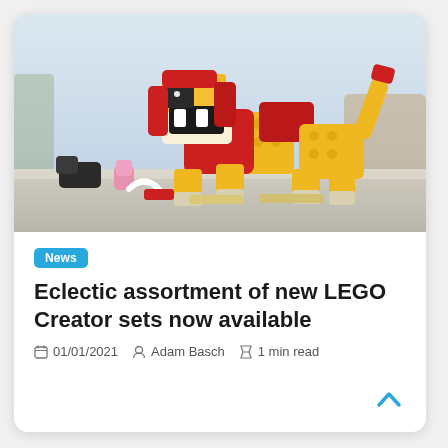[Figure (photo): LEGO Creator lion model made of yellow and red LEGO bricks, posed on a table, with small LEGO animal figures nearby]
News
Eclectic assortment of new LEGO Creator sets now available
01/01/2021  Adam Basch  1 min read